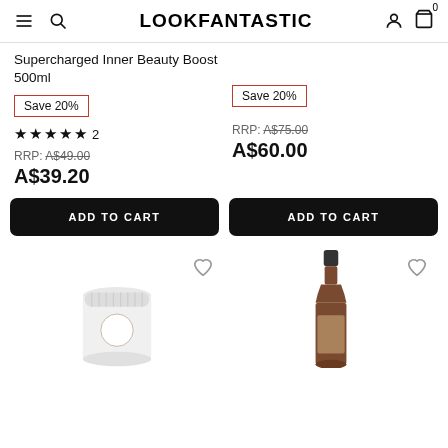LOOKFANTASTIC
Supercharged Inner Beauty Boost 500ml
Save 20%
Save 20%
★★★★★ 2
RRP: A$49.00
A$39.20
RRP: A$75.00
A$60.00
ADD TO CART
ADD TO CART
[Figure (photo): White jar supplement product partially visible at bottom of page]
[Figure (photo): Dark amber bottle product partially visible at bottom of page]